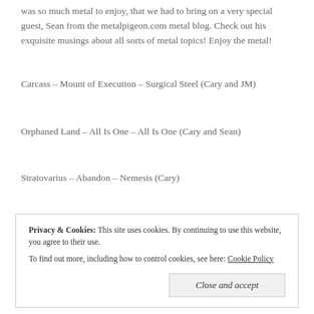was so much metal to enjoy, that we had to bring on a very special guest, Sean from the metalpigeon.com metal blog. Check out his exquisite musings about all sorts of metal topics! Enjoy the metal!
Carcass – Mount of Execution – Surgical Steel (Cary and JM)
Orphaned Land – All Is One – All Is One (Cary and Sean)
Stratovarius – Abandon – Nemesis (Cary)
Volbeat w/ King Diamond – Room 24 (JM) Fuck the album. this
Privacy & Cookies: This site uses cookies. By continuing to use this website, you agree to their use. To find out more, including how to control cookies, see here: Cookie Policy
Annihilator – Deadlock – Feast (JM)